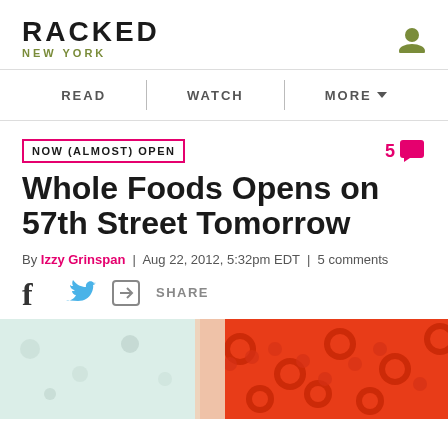RACKED NEW YORK
READ | WATCH | MORE
NOW (ALMOST) OPEN
Whole Foods Opens on 57th Street Tomorrow
By Izzy Grinspan | Aug 22, 2012, 5:32pm EDT | 5 comments
[Figure (other): Social share icons: Facebook, Twitter, and generic Share button]
[Figure (photo): Partial photo showing red sequined fabric or decoration on left, light floral background on right]